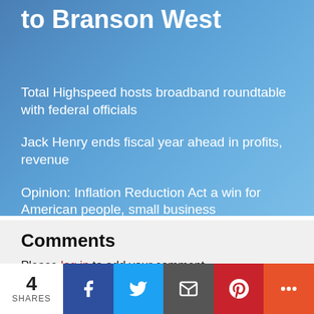to Branson West
Total Highspeed hosts broadband roundtable with federal officials
Jack Henry ends fiscal year ahead in profits, revenue
Opinion: Inflation Reduction Act a win for American people, small business
Comments
Please log in to add your comment
4 SHARES